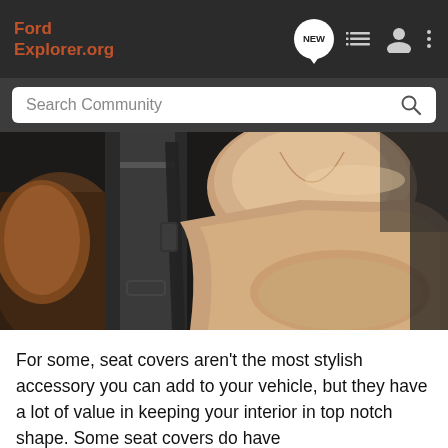FordExplorer.org — nav bar with NEW, list, user, menu icons
[Figure (screenshot): Search bar with 'Search Community' placeholder and magnifier icon]
[Figure (photo): Close-up photo of tan/beige leather car interior seats with dark door panel and seatbelt visible]
For some, seat covers aren't the most stylish accessory you can add to your vehicle, but they have a lot of value in keeping your interior in top notch shape. Some seat covers do have